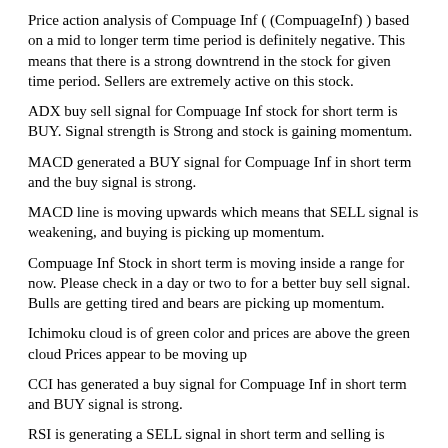Price action analysis of Compuage Inf ( (CompuageInf) ) based on a mid to longer term time period is definitely negative. This means that there is a strong downtrend in the stock for given time period. Sellers are extremely active on this stock.
ADX buy sell signal for Compuage Inf stock for short term is BUY. Signal strength is Strong and stock is gaining momentum.
MACD generated a BUY signal for Compuage Inf in short term and the buy signal is strong.
MACD line is moving upwards which means that SELL signal is weakening, and buying is picking up momentum.
Compuage Inf Stock in short term is moving inside a range for now. Please check in a day or two to for a better buy sell signal. Bulls are getting tired and bears are picking up momentum.
Ichimoku cloud is of green color and prices are above the green cloud Prices appear to be moving up
CCI has generated a buy signal for Compuage Inf in short term and BUY signal is strong.
RSI is generating a SELL signal in short term and selling is picking up momentum.